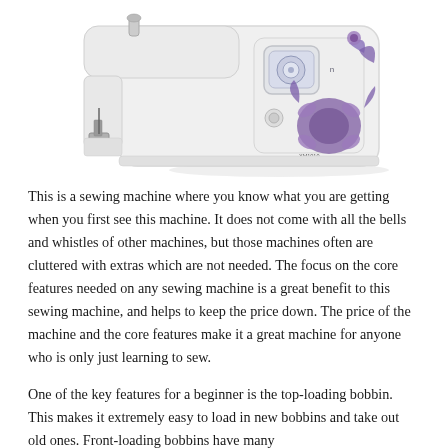[Figure (photo): A white sewing machine with purple floral decorations on its body, shown at an angle against a white background.]
This is a sewing machine where you know what you are getting when you first see this machine. It does not come with all the bells and whistles of other machines, but those machines often are cluttered with extras which are not needed. The focus on the core features needed on any sewing machine is a great benefit to this sewing machine, and helps to keep the price down. The price of the machine and the core features make it a great machine for anyone who is only just learning to sew.
One of the key features for a beginner is the top-loading bobbin. This makes it extremely easy to load in new bobbins and take out old ones. Front-loading bobbins have many advantages, but are a bit difficult to use, especially for...